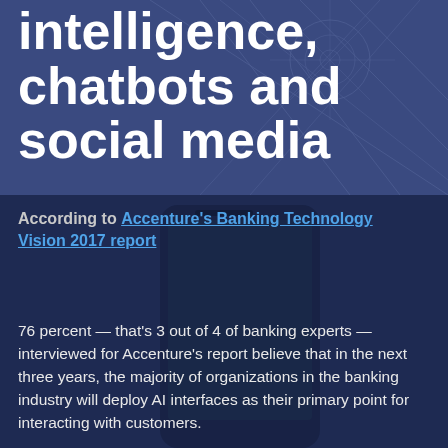intelligence, chatbots and social media
According to Accenture's Banking Technology Vision 2017 report
76 percent — that's 3 out of 4 of banking experts — interviewed for Accenture's report believe that in the next three years, the majority of organizations in the banking industry will deploy AI interfaces as their primary point for interacting with customers.